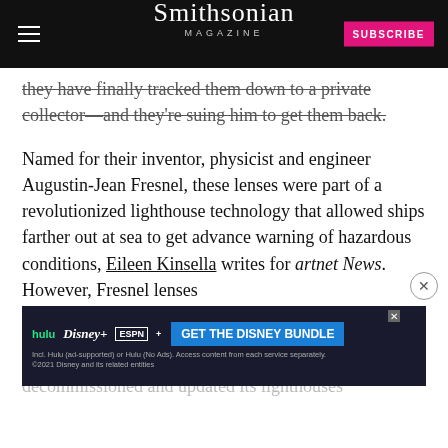Smithsonian MAGAZINE
they have finally tracked them down to a private collector—and they're suing him to get them back.

Named for their inventor, physicist and engineer Augustin-Jean Fresnel, these lenses were part of a revolutionized lighthouse technology that allowed ships farther out at sea to get advance warning of hazardous conditions, Eileen Kinsella writes for artnet News. However, Fresnel lenses were also deliberately...destroyed...decommissioned and updated its lighthouses
[Figure (screenshot): Disney Bundle advertisement banner showing Hulu, Disney+, ESPN+ logos and GET THE DISNEY BUNDLE call to action]